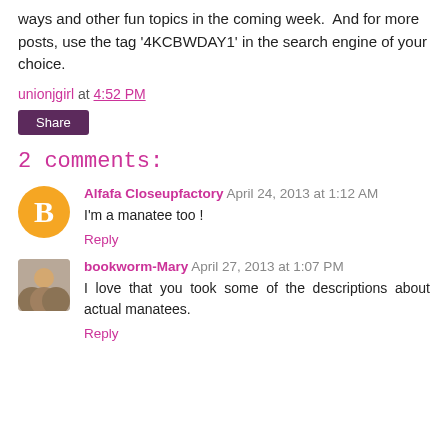ways and other fun topics in the coming week.  And for more posts, use the tag '4KCBWDAY1' in the search engine of your choice.
unionjgirl at 4:52 PM
Share
2 comments:
Alfafa Closeupfactory  April 24, 2013 at 1:12 AM
I'm a manatee too !
Reply
bookworm-Mary  April 27, 2013 at 1:07 PM
I love that you took some of the descriptions about actual manatees.
Reply